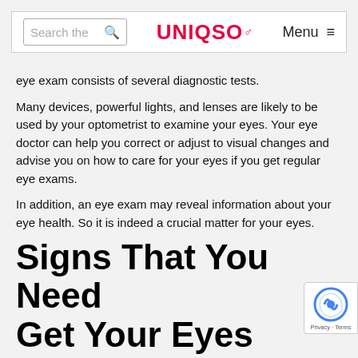Search the... UNIQSO Menu
eye exam consists of several diagnostic tests.
Many devices, powerful lights, and lenses are likely to be used by your optometrist to examine your eyes. Your eye doctor can help you correct or adjust to visual changes and advise you on how to care for your eyes if you get regular eye exams.
In addition, an eye exam may reveal information about your eye health. So it is indeed a crucial matter for your eyes.
Signs That You Need Get Your Eyes Checked